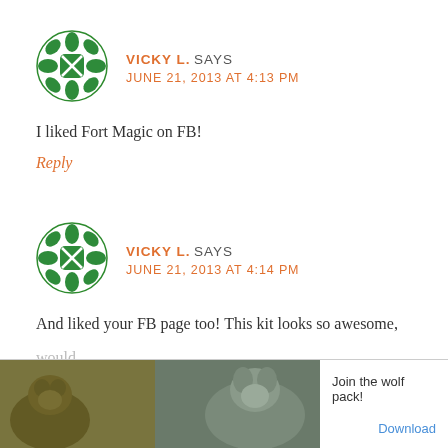[Figure (illustration): Green decorative avatar icon with cross/star pattern]
VICKY L. SAYS
JUNE 21, 2013 AT 4:13 PM
I liked Fort Magic on FB!
Reply
[Figure (illustration): Green decorative avatar icon with cross/star pattern]
VICKY L. SAYS
JUNE 21, 2013 AT 4:14 PM
And liked your FB page too! This kit looks so awesome,
[Figure (screenshot): Ad overlay at bottom: bear and wolf images with text 'Join the wolf pack!' and 'Download' button]